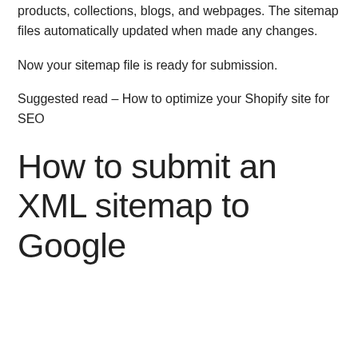products, collections, blogs, and webpages. The sitemap files automatically updated when made any changes.
Now your sitemap file is ready for submission.
Suggested read – How to optimize your Shopify site for SEO
How to submit an XML sitemap to Google